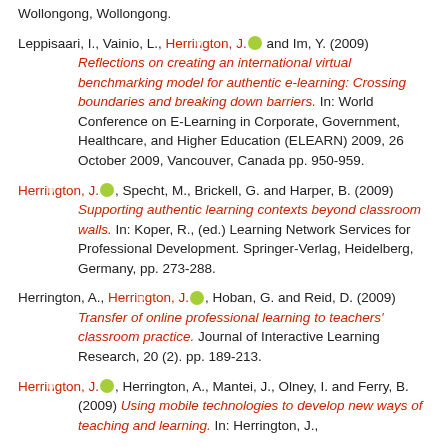Wollongong, Wollongong.
Leppisaari, I., Vainio, L., Herrington, J. [orcid] and Im, Y. (2009) Reflections on creating an international virtual benchmarking model for authentic e-learning: Crossing boundaries and breaking down barriers. In: World Conference on E-Learning in Corporate, Government, Healthcare, and Higher Education (ELEARN) 2009, 26 October 2009, Vancouver, Canada pp. 950-959.
Herrington, J. [orcid], Specht, M., Brickell, G. and Harper, B. (2009) Supporting authentic learning contexts beyond classroom walls. In: Koper, R., (ed.) Learning Network Services for Professional Development. Springer-Verlag, Heidelberg, Germany, pp. 273-288.
Herrington, A., Herrington, J. [orcid], Hoban, G. and Reid, D. (2009) Transfer of online professional learning to teachers' classroom practice. Journal of Interactive Learning Research, 20 (2). pp. 189-213.
Herrington, J. [orcid], Herrington, A., Mantei, J., Olney, I. and Ferry, B. (2009) Using mobile technologies to develop new ways of teaching and learning. In: Herrington, J., ...